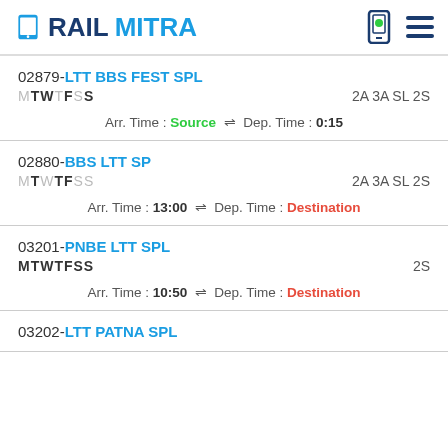RAILMITRA
02879-LTT BBS FEST SPL MTWTFSS 2A 3A SL 2S Arr. Time :Source Dep. Time :0:15
02880-BBS LTT SP MTWTFSS 2A 3A SL 2S Arr. Time :13:00 Dep. Time :Destination
03201-PNBE LTT SPL MTWTFSS 2S Arr. Time :10:50 Dep. Time :Destination
03202-LTT PATNA SPL